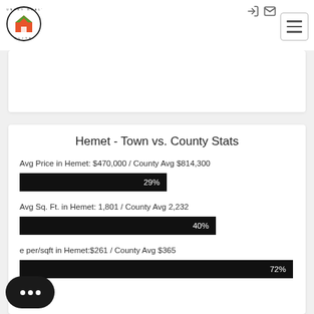[Figure (logo): Country Realty Elite circular logo with house icon in orange and green]
Hemet - Town vs. County Stats
Avg Price in Hemet: $470,000 / County Avg $814,300
[Figure (bar-chart): Avg Price bar]
Avg Sq. Ft. in Hemet: 1,801 / County Avg 2,232
[Figure (bar-chart): Avg Sq Ft bar]
e per/sqft in Hemet:$261 / County Avg $365
[Figure (bar-chart): Price per sqft bar]